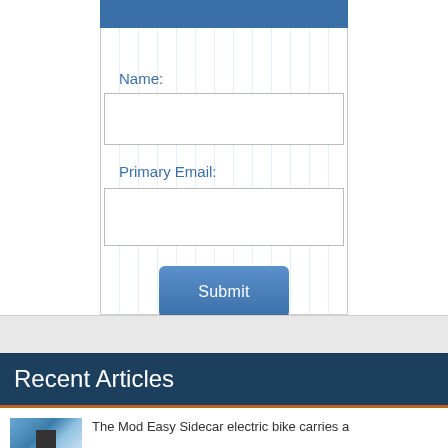[Figure (screenshot): Form with blue header bar, vertical line background, Name field label and empty input box, Primary Email field label and empty input box, and a blue Submit button]
Recent Articles
The Mod Easy Sidecar electric bike carries a